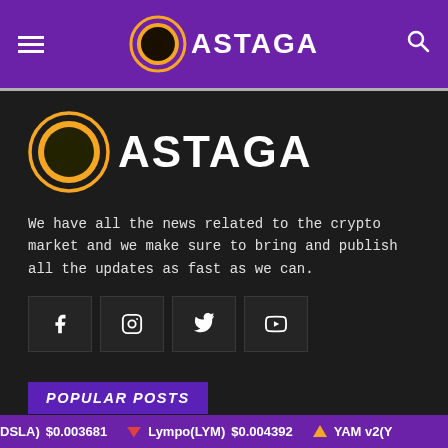BASTAGA — navigation header with hamburger menu, logo, and search icon
[Figure (logo): Bastaga cryptocurrency logo — orange circle with Bitcoin B symbol and orange ring, with white text ASTAGA]
We have all the news related to the crypto market and we make sure to bring and publish all the updates as fast as we can.
[Figure (infographic): Social media icon buttons: Facebook, Instagram, Twitter, YouTube]
POPULAR POSTS
DSLA) $0.003681   Lympo(LYM) $0.004392   YAM v2(Y